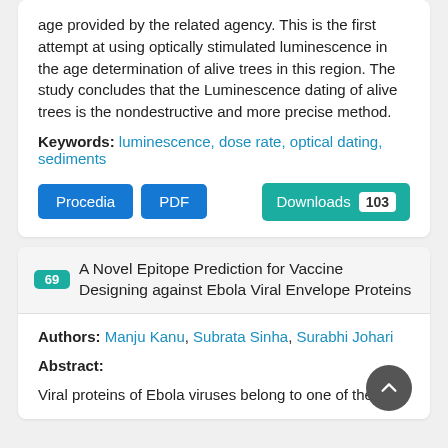age provided by the related agency. This is the first attempt at using optically stimulated luminescence in the age determination of alive trees in this region. The study concludes that the Luminescence dating of alive trees is the nondestructive and more precise method.
Keywords: luminescence, dose rate, optical dating, sediments
Procedia  PDF  Downloads 103
69 A Novel Epitope Prediction for Vaccine Designing against Ebola Viral Envelope Proteins
Authors: Manju Kanu, Subrata Sinha, Surabhi Johari
Abstract:
Viral proteins of Ebola viruses belong to one of the